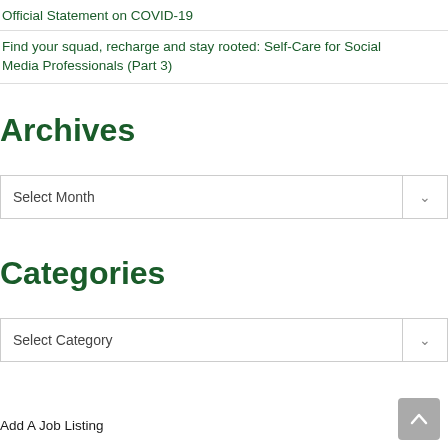Official Statement on COVID-19
Find your squad, recharge and stay rooted: Self-Care for Social Media Professionals (Part 3)
Archives
Select Month
Categories
Select Category
Add A Job Listing